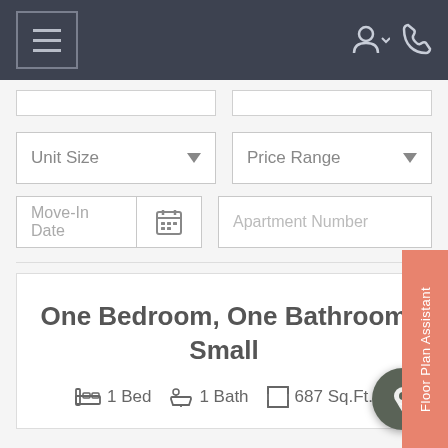Navigation bar with hamburger menu and user/phone icons
Unit Size (dropdown)
Price Range (dropdown)
Move-In Date (date input with calendar icon)
Apartment Number (text input)
Floor Plan Assistant
One Bedroom, One Bathroom Small
1 Bed  1 Bath  687 Sq.Ft.